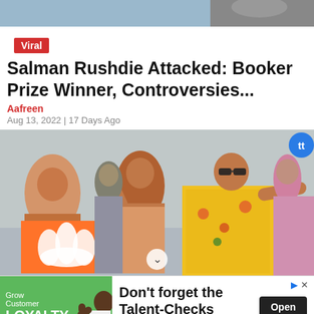[Figure (photo): Top portion of an article page with a partially visible photo at the top showing persons]
Viral
Salman Rushdie Attacked: Booker Prize Winner, Controversies...
Aafreen
Aug 13, 2022 | 17 Days Ago
[Figure (photo): Photo of a crowd of people at what appears to be a political rally, a woman in yellow floral saree with sunglasses waving, BJP flag with lotus symbol visible in foreground]
[Figure (photo): Advertisement banner: Grow Customer LOYALTY with image of man giving thumbs up on green background. Text: Don't forget the Talent-Checks. Open button. Talent-Checks brand name.]